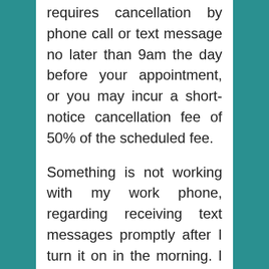requires cancellation by phone call or text message no later than 9am the day before your appointment, or you may incur a short-notice cancellation fee of 50% of the scheduled fee.
Something is not working with my work phone, regarding receiving text messages promptly after I turn it on in the morning. I don't want to assume a client has not adhered to the cancellation policy because a text sent the previous night has not come up on my phone until 9:30am